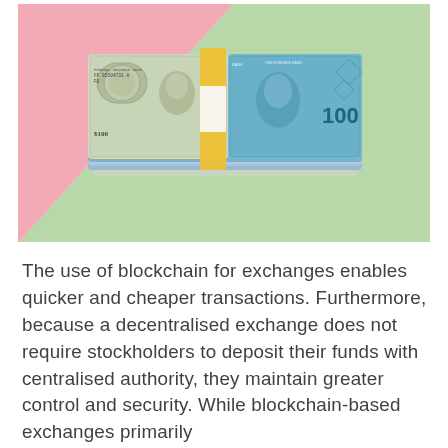[Figure (photo): A stack of bundled banknotes showing a US $100 dollar bill on the left side and a South African 100 Rand note on the right side, placed on a two-tone background of pink (left) and green (right).]
The use of blockchain for exchanges enables quicker and cheaper transactions. Furthermore, because a decentralised exchange does not require stockholders to deposit their funds with centralised authority, they maintain greater control and security. While blockchain-based exchanges primarily